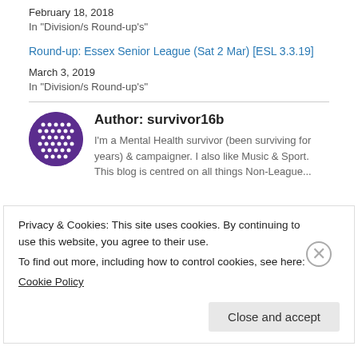February 18, 2018
In "Division/s Round-up's"
Round-up: Essex Senior League (Sat 2 Mar) [ESL 3.3.19]
March 3, 2019
In "Division/s Round-up's"
Author: survivor16b
I'm a Mental Health survivor (been surviving for years) & campaigner. I also like Music & Sport. This blog is centred on all things Non-League...
Privacy & Cookies: This site uses cookies. By continuing to use this website, you agree to their use.
To find out more, including how to control cookies, see here:
Cookie Policy
Close and accept